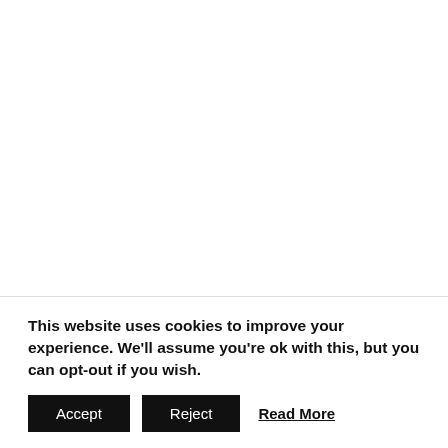Factory service manuals for BMW X7 G07 from 2018 – to the present time.
See also:
BMW X6 (F16) Owners Manual PDF
This website uses cookies to improve your experience. We'll assume you're ok with this, but you can opt-out if you wish.